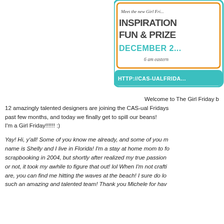[Figure (illustration): A promotional banner/logo for CAS-ual Fridays Girl Friday event. Orange border box with text: 'Meet the new Girl Fri...' 'INSPIRATION', 'FUN & PRIZE...' in large display font, 'DECEMBER 2...' in teal, '6 am eastern' in script. Below in teal rounded rectangle: 'HTTP://CAS-UALFRIDA...']
Welcome to The Girl Friday b... 12 amazingly talented designers are joining the CAS-ual Fridays... past few months, and today we finally get to spill our beans! I'm a Girl Friday!!!!!! :)
Yay! Hi, y'all! Some of you know me already, and some of you m... name is Shelly and I live in Florida! I'm a stay at home mom to fo... scrapbooking in 2004, but shortly after realized my true passion... or not, it took my awhile to figure that out! lol When I'm not crafti... are, you can find me hitting the waves at the beach! I sure do lo... such an amazing and talented team! Thank you Michele for hav...